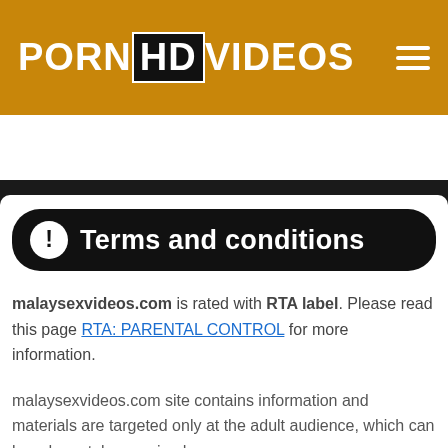PORN HD VIDEOS
Search some porn
Terms and conditions
malaysexvideos.com is rated with RTA label. Please read this page RTA: PARENTAL CONTROL for more information.
malaysexvideos.com site contains information and materials are targeted only at the adult audience, which can be adequately perceived